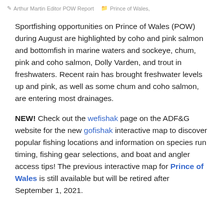Arthur Martin Editor POW Report   Prince of Wales,
Sportfishing opportunities on Prince of Wales (POW) during August are highlighted by coho and pink salmon and bottomfish in marine waters and sockeye, chum, pink and coho salmon, Dolly Varden, and trout in freshwaters. Recent rain has brought freshwater levels up and pink, as well as some chum and coho salmon, are entering most drainages.
NEW! Check out the wefishak page on the ADF&G website for the new gofishak interactive map to discover popular fishing locations and information on species run timing, fishing gear selections, and boat and angler access tips! The previous interactive map for Prince of Wales is still available but will be retired after September 1, 2021.